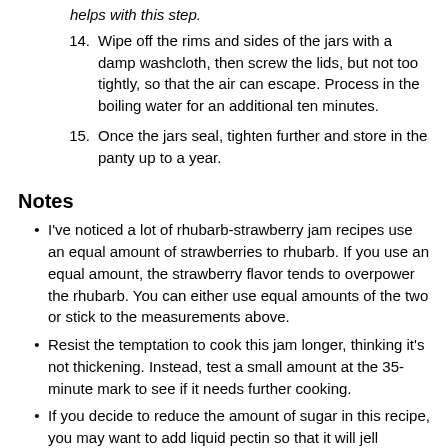helps with this step.
14. Wipe off the rims and sides of the jars with a damp washcloth, then screw the lids, but not too tightly, so that the air can escape. Process in the boiling water for an additional ten minutes.
15. Once the jars seal, tighten further and store in the panty up to a year.
Notes
I've noticed a lot of rhubarb-strawberry jam recipes use an equal amount of strawberries to rhubarb. If you use an equal amount, the strawberry flavor tends to overpower the rhubarb. You can either use equal amounts of the two or stick to the measurements above.
Resist the temptation to cook this jam longer, thinking it's not thickening. Instead, test a small amount at the 35-minute mark to see if it needs further cooking.
If you decide to reduce the amount of sugar in this recipe, you may want to add liquid pectin so that it will jell properly.
If you prefer a smoother texture, allow the jam to cool, then blend using an immersion blender. Once you have the